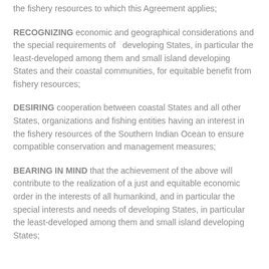the fishery resources to which this Agreement applies;
RECOGNIZING economic and geographical considerations and the special requirements of developing States, in particular the least-developed among them and small island developing States and their coastal communities, for equitable benefit from fishery resources;
DESIRING cooperation between coastal States and all other States, organizations and fishing entities having an interest in the fishery resources of the Southern Indian Ocean to ensure compatible conservation and management measures;
BEARING IN MIND that the achievement of the above will contribute to the realization of a just and equitable economic order in the interests of all humankind, and in particular the special interests and needs of developing States, in particular the least-developed among them and small island developing States;